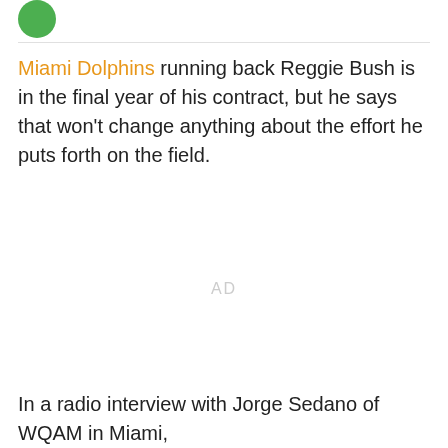[Figure (logo): Green circular logo/icon in top left corner]
Miami Dolphins running back Reggie Bush is in the final year of his contract, but he says that won't change anything about the effort he puts forth on the field.
AD
In a radio interview with Jorge Sedano of WQAM in Miami,